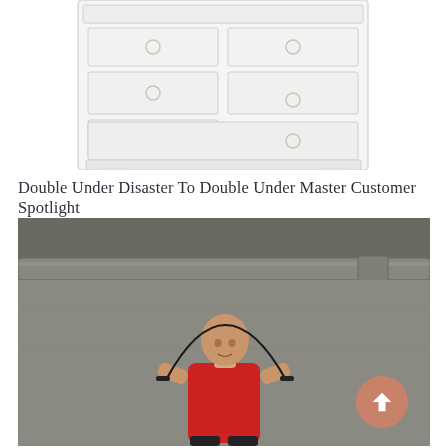[Figure (illustration): Faded line drawing of a white dresser/chest of drawers with multiple drawers and round knobs, cropped at top]
Double Under Disaster To Double Under Master Customer Spotlight
[Figure (photo): A bald man in a red sleeveless shirt jump-roping in what appears to be a gym or industrial space with concrete walls and metal ductwork visible in the background. A jump rope arc is visible above his head.]